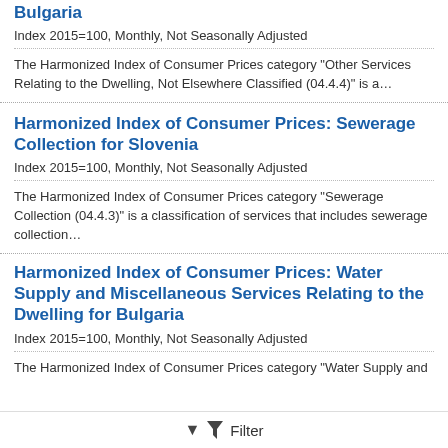Bulgaria
Index 2015=100, Monthly, Not Seasonally Adjusted
The Harmonized Index of Consumer Prices category "Other Services Relating to the Dwelling, Not Elsewhere Classified (04.4.4)" is a…
Harmonized Index of Consumer Prices: Sewerage Collection for Slovenia
Index 2015=100, Monthly, Not Seasonally Adjusted
The Harmonized Index of Consumer Prices category "Sewerage Collection (04.4.3)" is a classification of services that includes sewerage collection…
Harmonized Index of Consumer Prices: Water Supply and Miscellaneous Services Relating to the Dwelling for Bulgaria
Index 2015=100, Monthly, Not Seasonally Adjusted
The Harmonized Index of Consumer Prices category "Water Supply and
Filter